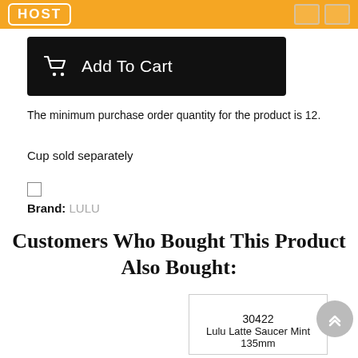HOST
[Figure (screenshot): Add To Cart button, black background with white shopping cart icon and text]
The minimum purchase order quantity for the product is 12.
Cup sold separately
Brand:  LULU
Customers Who Bought This Product Also Bought:
30422
Lulu Latte Saucer Mint 135mm